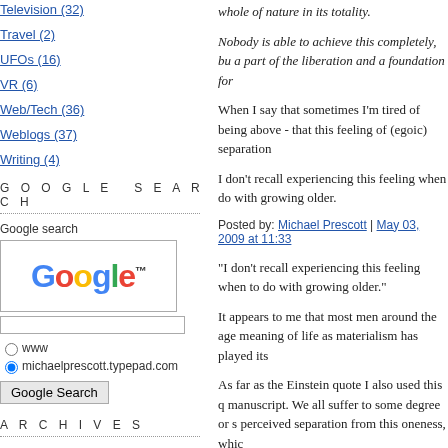Television (32)
Travel (2)
UFOs (16)
VR (6)
Web/Tech (36)
Weblogs (37)
Writing (4)
GOOGLE SEARCH
[Figure (screenshot): Google search widget with Google logo, text input field, radio buttons for www and michaelprescott.typepad.com, and Google Search button]
ARCHIVES
April 2021
whole of nature in its totality.
Nobody is able to achieve this completely, bu a part of the liberation and a foundation for
When I say that sometimes I'm tired of being above - that this feeling of (egoic) separation
I don't recall experiencing this feeling when do with growing older.
Posted by: Michael Prescott | May 03, 2009 at 11:33
“I don’t recall experiencing this feeling when to do with growing older.”
It appears to me that most men around the age meaning of life as materialism has played its
As far as the Einstein quote I also used this q manuscript. We all suffer to some degree or s perceived separation from this oneness, whic
Surely one can see even with technology we cell phones, facebook, internet, and emails. O
I was 49 when I started my search for a deep